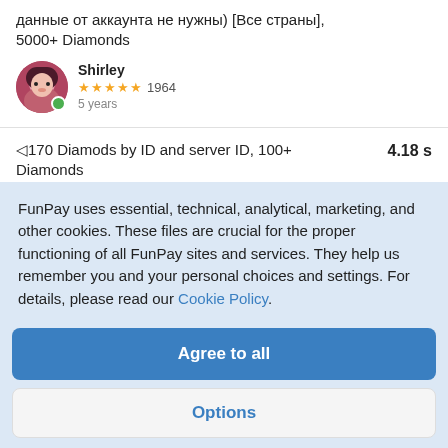данные от аккаунта не нужны) [Все страны], 5000+ Diamonds
Shirley ★★★★★ 1964  5 years
◁170 Diamods by ID and server ID, 100+ Diamonds  4.18 s
OdessaW ★★★★★ 911  9 months
◁185 Diamods by ID and server ID, 100+  4.54 s
FunPay uses essential, technical, analytical, marketing, and other cookies. These files are crucial for the proper functioning of all FunPay sites and services. They help us remember you and your personal choices and settings. For details, please read our Cookie Policy.
Agree to all
Options